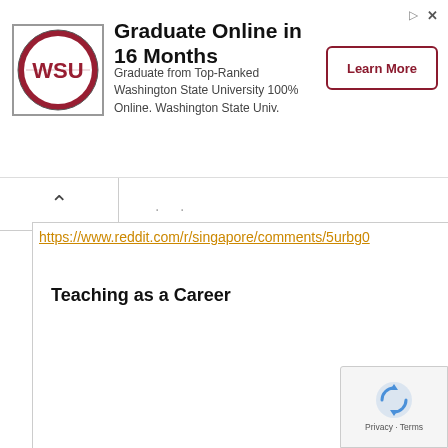[Figure (screenshot): Washington State University online graduate program advertisement banner with WSU logo, headline, body text, and Learn More button]
https://www.reddit.com/r/singapore/comments/5urbg0
Teaching as a Career
[Figure (logo): Google reCAPTCHA badge with Privacy and Terms text]